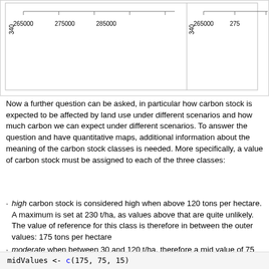[Figure (other): Partial map/chart strip showing axis labels: 340 on y-axis, x-axis values 265000, 275000, 285000 on left panel and 340 on y-axis, 265000, 275 (cropped) on right panel]
Now a further question can be asked, in particular how carbon stock is expected to be affected by land use under different scenarios and how much carbon we can expect under different scenarios. To answer the question and have quantitative maps, additional information about the meaning of the carbon stock classes is needed. More specifically, a value of carbon stock must be assigned to each of the three classes:
high carbon stock is considered high when above 120 tons per hectare. A maximum is set at 230 t/ha, as values above that are quite unlikely. The value of reference for this class is therefore in between the outer values: 175 tons per hectare
moderate when between 30 and 120 t/ha, therefore a mid value of 75 t/ha is the reference for this class
low when ranging between 0 to 30 t/ha, setting a class mid value at 15 t/ha for this class.
midValues <- c(175, 75, 15)